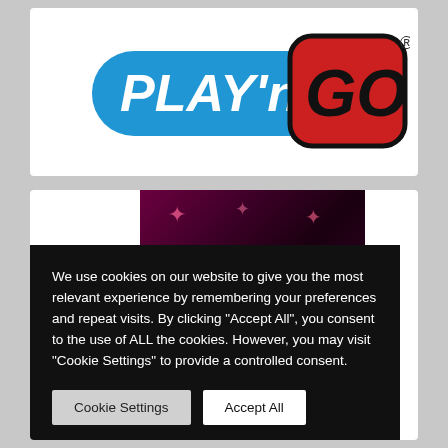[Figure (logo): Play'n GO logo — blue pill-shaped background with white 'PLAY'n' text and red rounded-rectangle 'GO' text, registered trademark symbol]
[Figure (photo): Dark magenta/purple game banner background with pink star sparkles]
We use cookies on our website to give you the most relevant experience by remembering your preferences and repeat visits. By clicking "Accept All", you consent to the use of ALL the cookies. However, you may visit "Cookie Settings" to provide a controlled consent.